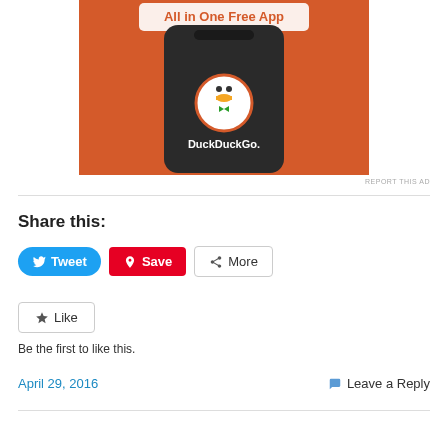[Figure (illustration): DuckDuckGo All in One Free App advertisement showing a smartphone with DuckDuckGo logo on an orange background]
REPORT THIS AD
Share this:
Tweet  Save  More (share buttons)
Like  Be the first to like this.
April 29, 2016   Leave a Reply